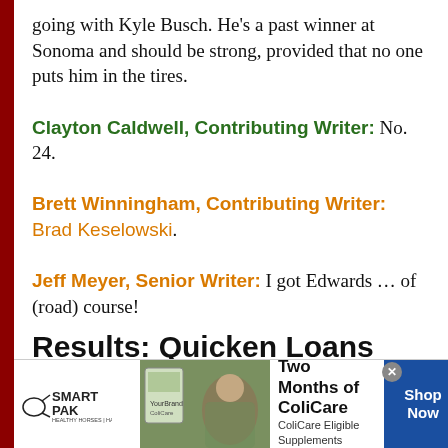going with Kyle Busch. He's a past winner at Sonoma and should be strong, provided that no one puts him in the tires.
Clayton Caldwell, Contributing Writer: No. 24.
Brett Winningham, Contributing Writer: Brad Keselowski.
Jeff Meyer, Senior Writer: I got Edwards … of (road) course!
Results: Quicken Loans 400
| Writer | Pick | Finishing Position | Points |
| --- | --- | --- | --- |
[Figure (advertisement): SmartPak advertisement: 50% Off Two Months of ColiCare, ColiCare Eligible Supplements, CODE: COLICARE10, Shop Now button]